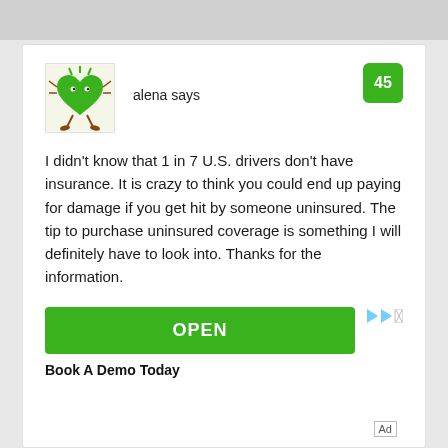[Figure (illustration): Green cartoon heart character avatar used as user profile picture]
alena says
45
I didn't know that 1 in 7 U.S. drivers don't have insurance. It is crazy to think you could end up paying for damage if you get hit by someone uninsured. The tip to purchase uninsured coverage is something I will definitely have to look into. Thanks for the information.
OPEN
Book A Demo Today
Ad